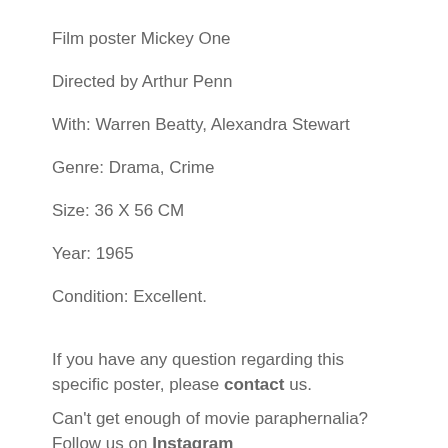Film poster Mickey One
Directed by Arthur Penn
With: Warren Beatty, Alexandra Stewart
Genre: Drama, Crime
Size: 36 X 56 CM
Year: 1965
Condition: Excellent.
If you have any question regarding this specific poster, please contact us.
Can't get enough of movie paraphernalia? Follow us on Instagram